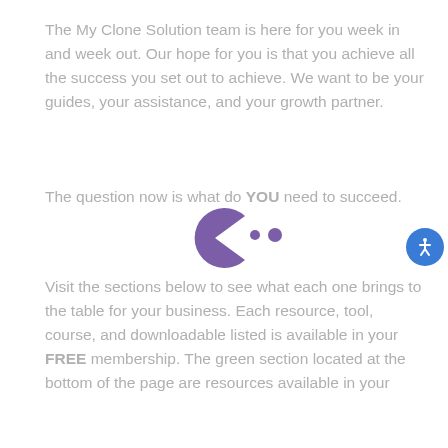The My Clone Solution team is here for you week in and week out. Our hope for you is that you achieve all the success you set out to achieve. We want to be your guides, your assistance, and your growth partner.
The question now is what do YOU need to succeed.
[Figure (illustration): Purple Pac-Man style icon facing right with mouth open, with two small purple dots to its right]
Visit the sections below to see what each one brings to the table for your business. Each resource, tool, course, and downloadable listed is available in your FREE membership. The green section located at the bottom of the page are resources available in your